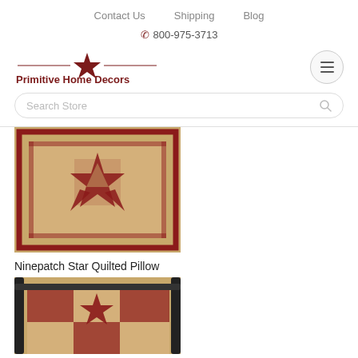Contact Us   Shipping   Blog
📞 800-975-3713
[Figure (logo): Primitive Home Decors logo with star emblem and decorative lines]
Search Store
[Figure (photo): Ninepatch Star Quilted Pillow — tan and red checkered fabric with star motif]
Ninepatch Star Quilted Pillow
[Figure (photo): Second product photo — star quilt draped over a black metal bed frame, tan and red checkered pattern]